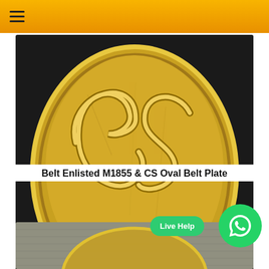≡ (navigation menu)
[Figure (photo): Close-up photograph of a gold-colored Confederate CS oval belt plate on a gray fabric background. The plate features raised 'CS' letters in ornate script on an oval brass/gold disc.]
Belt Enlisted M1855 & CS Oval Belt Plate
[Figure (photo): Partial close-up photograph of another belt plate artifact on gray fabric background, showing the lower portion.]